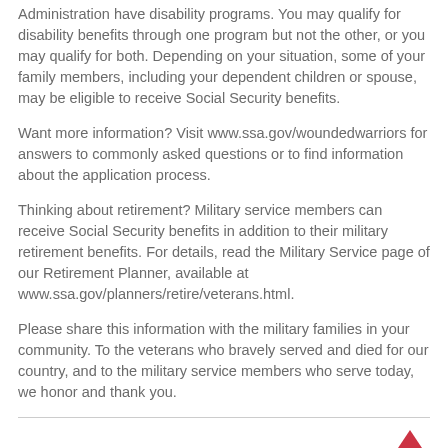Administration have disability programs. You may qualify for disability benefits through one program but not the other, or you may qualify for both. Depending on your situation, some of your family members, including your dependent children or spouse, may be eligible to receive Social Security benefits.
Want more information? Visit www.ssa.gov/woundedwarriors for answers to commonly asked questions or to find information about the application process.
Thinking about retirement? Military service members can receive Social Security benefits in addition to their military retirement benefits. For details, read the Military Service page of our Retirement Planner, available at www.ssa.gov/planners/retire/veterans.html.
Please share this information with the military families in your community. To the veterans who bravely served and died for our country, and to the military service members who serve today, we honor and thank you.
Q&A